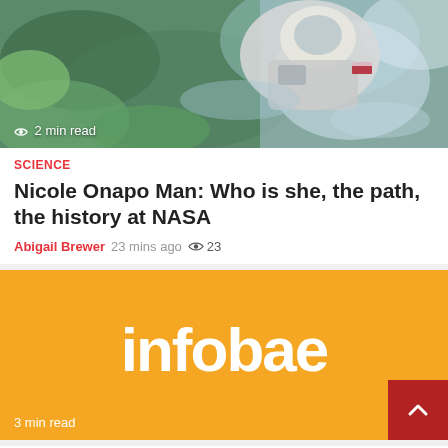[Figure (photo): Astronaut swimming or training in water with green aquatic vegetation visible, partial view from above]
2 min read
SCIENCE
Nicole Onapo Man: Who is she, the path, the history at NASA
Abigail Brewer  23 mins ago  👁 23
[Figure (logo): Infobae orange banner with white infobae logo text and '3 min read' label]
3 min read
SPORT
New Zealand presents a concert in Copenhagen